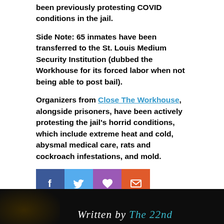been previously protesting COVID conditions in the jail.
Side Note: 65 inmates have been transferred to the St. Louis Medium Security Institution (dubbed the Workhouse for its forced labor when not being able to post bail).
Organizers from Close The Workhouse, alongside prisoners, have been actively protesting the jail's horrid conditions, which include extreme heat and cold, abysmal medical care, rats and cockroach infestations, and mold.
[Figure (infographic): Social share buttons: Facebook (dark blue), Twitter (light blue), heart/like (purple), email (orange-red)]
Tagged in: City Justice Center, COVID-19, Fight, inhumane conditions, mass incarceration, Prisoners, revolt, S3R News, SERMON 3, St. Louis, the Workhorse
[Figure (photo): Dark banner at bottom with text 'Written by The 22nd...' in white and cyan italic serif font, with a dimly lit person on the left side]